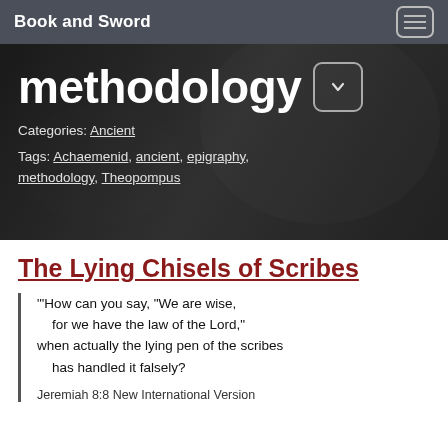Book and Sword
methodology
Categories: Ancient
Tags: Achaemenid, ancient, epigraphy, methodology, Theopompus
The Lying Chisels of Scribes
“‘How can you say, “We are wise,
    for we have the law of the Lord,”
when actually the lying pen of the scribes
    has handled it falsely?

Jeremiah 8:8 New International Version